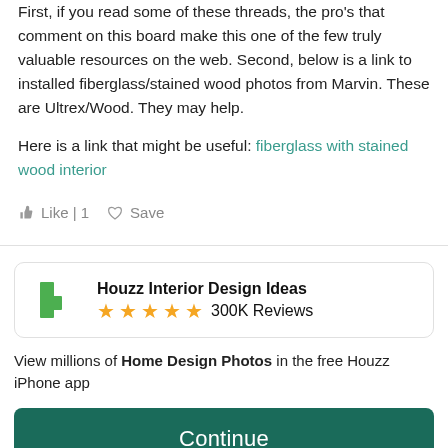First, if you read some of these threads, the pro's that comment on this board make this one of the few truly valuable resources on the web. Second, below is a link to installed fiberglass/stained wood photos from Marvin. These are Ultrex/Wood. They may help.
Here is a link that might be useful: fiberglass with stained wood interior
Like | 1   Save
[Figure (screenshot): Houzz Interior Design Ideas app card with green logo, 5 gold stars, and 300K Reviews]
View millions of Home Design Photos in the free Houzz iPhone app
Continue
Go to Mobile Site